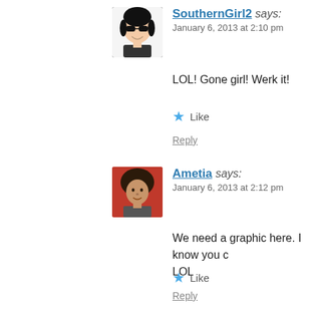[Figure (photo): Avatar image of SouthernGirl2 - cartoon woman with sunglasses and black hair]
SouthernGirl2 says:
January 6, 2013 at 2:10 pm
LOL! Gone girl! Werk it!
★ Like
Reply
[Figure (photo): Avatar image of Ametia - woman with afro hairstyle on red background]
Ametia says:
January 6, 2013 at 2:12 pm
We need a graphic here. I know you c LOL
★ Like
Reply
[Figure (photo): Avatar image of SouthernGirl2 - cartoon woman with sunglasses and black hair]
SouthernGirl2 says: